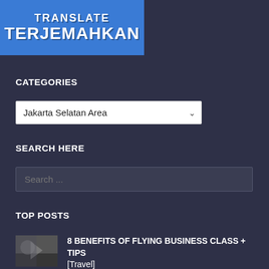[Figure (logo): Blue banner logo with text 'TRANSLATE TERJEMAHKAN' in white bold uppercase letters on blue background]
CATEGORIES
Jakarta Selatan Area
SEARCH HERE
Search ...
TOP POSTS
8 BENEFITS OF FLYING BUSINESS CLASS + TIPS [Travel]